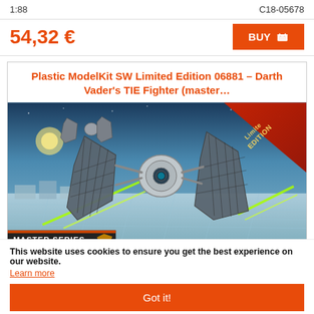1:88
C18-05678
54,32 €
BUY
Plastic ModelKit SW Limited Edition 06881 – Darth Vader's TIE Fighter (master…
[Figure (photo): Box art illustration of Darth Vader's TIE Fighter model kit flying over a Death Star surface with laser beams, 'Limited Edition' banner in top right corner, 'Master Series – A Fine Master Model Kit' logo at bottom left.]
This website uses cookies to ensure you get the best experience on our website.
Learn more
Got it!